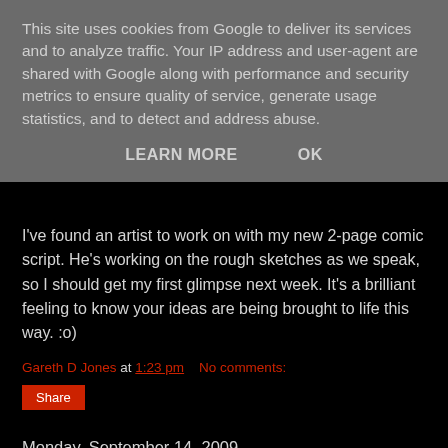This site uses cookies from Google to deliver its services and to analyze traffic. Your IP address and user-agent are shared with Google along with performance and security metrics to ensure quality of service, generate usage statistics, and to detect and address abuse.
LEARN MORE    OK
I've found an artist to work on with my new 2-page comic script. He's working on the rough sketches as we speak, so I should get my first glimpse next week. It's a brilliant feeling to know your ideas are being brought to life this way. :o)
Gareth D Jones at 1:23 pm   No comments:
Share
Monday, September 14, 2009
Spanish Dozen
Gareth D Jones published his second...